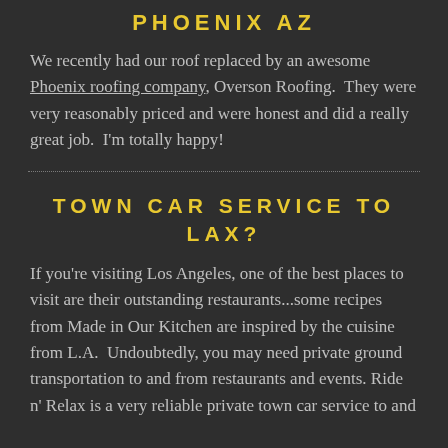PHOENIX AZ
We recently had our roof replaced by an awesome Phoenix roofing company, Overson Roofing.  They were very reasonably priced and were honest and did a really great job.  I'm totally happy!
TOWN CAR SERVICE TO LAX?
If you're visiting Los Angeles, one of the best places to visit are their outstanding restaurants...some recipes from Made in Our Kitchen are inspired by the cuisine from L.A.  Undoubtedly, you may need private ground transportation to and from restaurants and events. Ride n' Relax is a very reliable private town car service to and